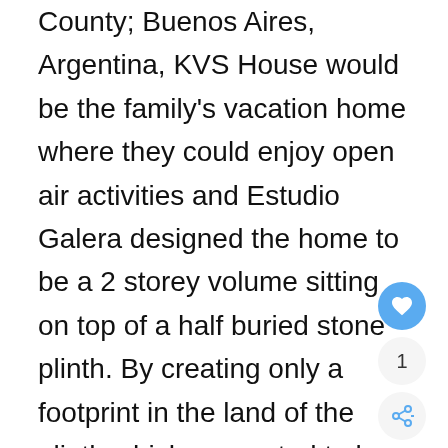County, Buenos Aires, Argentina, KVS House would be the family's vacation home where they could enjoy open air activities and Estudio Galera designed the home to be a 2 storey volume sitting on top of a half buried stone plinth. By creating only a footprint in the land of the plinth which amounted to less then 12%, the architects where able to include a pool and green dune to the landscape and still keep most of the surrounding landscape pristine.